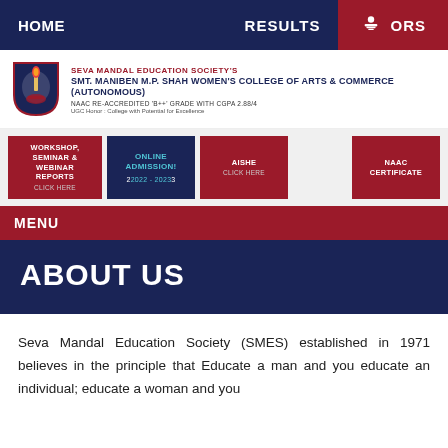HOME   RESULTS   ORS
[Figure (logo): Seva Mandal Education Society logo - shield with torch]
SEVA MANDAL EDUCATION SOCIETY'S
SMT. MANIBEN M.P. SHAH WOMEN'S COLLEGE OF ARTS & COMMERCE (AUTONOMOUS)
NAAC RE-ACCREDITED 'B++' GRADE WITH CGPA 2.88/4
UGC Honor : College with Potential for Excellence
WORKSHOP, SEMINAR & WEBINAR REPORTS Click Here
ONLINE ADMISSION! 2022 - 2023
AISHE Click Here
NAAC CERTIFICATE
MENU
ABOUT US
Seva Mandal Education Society (SMES) established in 1971 believes in the principle that Educate a man and you educate an individual; educate a woman and you